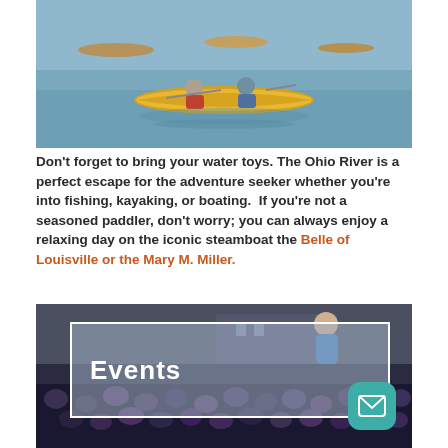[Figure (photo): People kayaking on the Ohio River, yellow kayak in foreground with two paddlers, other kayakers in background on calm water]
Don't forget to bring your water toys. The Ohio River is a perfect escape for the adventure seeker whether you're into fishing, kayaking, or boating.  If you're not a seasoned paddler, don't worry; you can always enjoy a relaxing day on the iconic steamboat the Belle of Louisville or the Mary M. Miller.
[Figure (photo): Outdoor concert scene at night with a performer on stage and a large crowd; overlaid with a white-bordered translucent box containing the heading 'Events']
Events